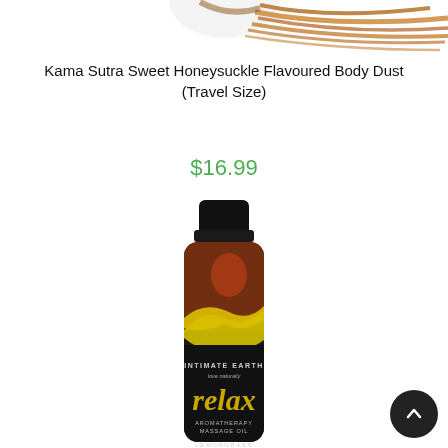[Figure (photo): Partial product image showing feathery brown/golden streaks at top of page (previous product)]
Kama Sutra Sweet Honeysuckle Flavoured Body Dust (Travel Size)
$16.99
[Figure (photo): Bottle of Intimate Earth 'relax' Aromatherapy Massage Oil, lemongrass scent. Black bottle with black cap, amber/golden liquid visible through top, black label with gold script lettering.]